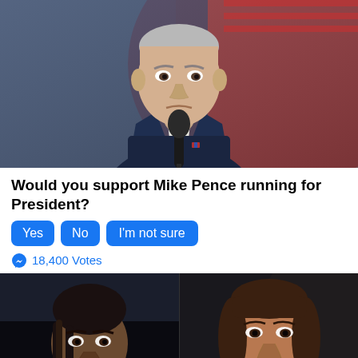[Figure (photo): Man in dark navy suit standing at a microphone, with red and blue background. Appears to be Mike Pence speaking at an event.]
Would you support Mike Pence running for President?
Yes
No
I'm not sure
18,400 Votes
[Figure (photo): Young woman with braided hair, dark athletic clothing, appears to be Brittney Griner.]
[Figure (photo): Woman with shoulder-length brown hair, appears to be Kamala Harris.]